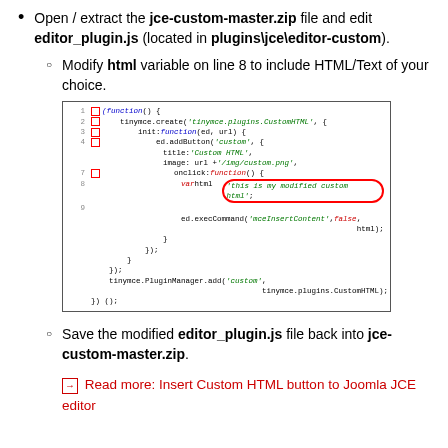Open / extract the jce-custom-master.zip file and edit editor_plugin.js (located in plugins\jce\editor-custom).
Modify html variable on line 8 to include HTML/Text of your choice.
[Figure (screenshot): Code editor screenshot showing JavaScript code for TinyMCE custom plugin with line numbers and red square markers on lines 1-4 and 7, and an oval highlight around the html variable value on line 8.]
Save the modified editor_plugin.js file back into jce-custom-master.zip.
Read more: Insert Custom HTML button to Joomla JCE editor